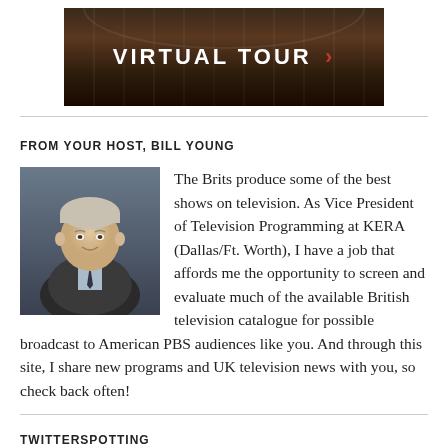[Figure (photo): Dark banner image showing a lecture hall or theater interior with columns, overlaid with white bold text 'VIRTUAL TOUR' and a red right-pointing chevron arrow]
FROM YOUR HOST, BILL YOUNG
[Figure (photo): Headshot portrait of Bill Young, a middle-aged man with grey hair wearing a suit and tie, smiling]
The Brits produce some of the best shows on television. As Vice President of Television Programming at KERA (Dallas/Ft. Worth), I have a job that affords me the opportunity to screen and evaluate much of the available British television catalogue for possible broadcast to American PBS audiences like you. And through this site, I share new programs and UK television news with you, so check back often!
TWITTERSPOTTING